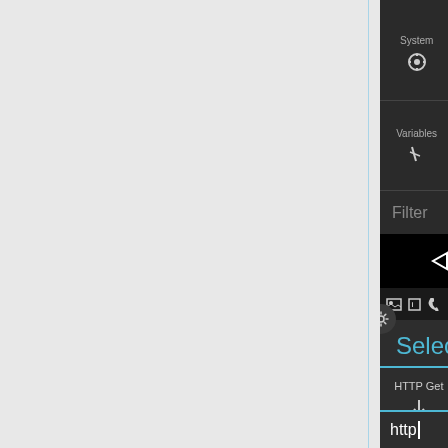[Figure (screenshot): Android Tasker app screenshot showing a category selection grid with icons for Variables, Zoom, 3rd Party, a Filter input bar, Android navigation bar with back/home/recents buttons, status bar with signal icons, a gear/settings icon, a 'Select Action' panel with HTTP Get, HTTP Head, and HTTP (truncated) options, and an http text input at the bottom.]